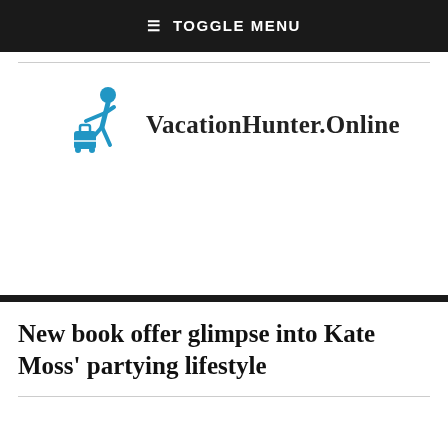≡ TOGGLE MENU
[Figure (logo): VacationHunter.Online logo with a blue traveler figure pulling luggage]
New book offer glimpse into Kate Moss' partying lifestyle